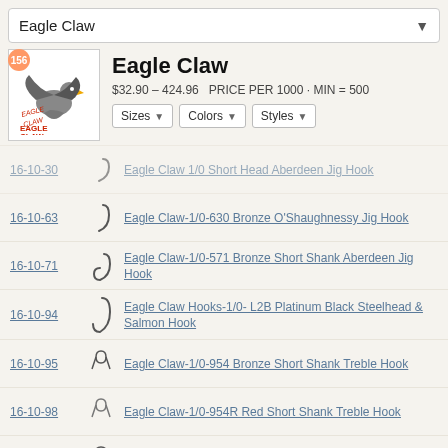Eagle Claw
Eagle Claw
$32.90 - 424.96   PRICE PER 1000 · MIN = 500
Sizes | Colors | Styles
16-10-30 | Eagle Claw 1/0 Short Head Aberdeen Jig Hook
16-10-63 | Eagle Claw-1/0-630 Bronze O'Shaughnessy Jig Hook
16-10-71 | Eagle Claw-1/0-571 Bronze Short Shank Aberdeen Jig Hook
16-10-94 | Eagle Claw Hooks-1/0- L2B Platinum Black Steelhead & Salmon Hook
16-10-95 | Eagle Claw-1/0-954 Bronze Short Shank Treble Hook
16-10-98 | Eagle Claw-1/0-954R Red Short Shank Treble Hook
16-12-34 | Eagle Claw-12-374 Bronze Treble Hook
16-12-35 | Eagle Claw-12-375 Nickel Treble Hook